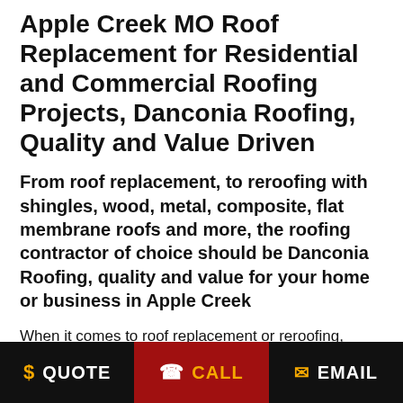Apple Creek MO Roof Replacement for Residential and Commercial Roofing Projects, Danconia Roofing, Quality and Value Driven
From roof replacement, to reroofing with shingles, wood, metal, composite, flat membrane roofs and more, the roofing contractor of choice should be Danconia Roofing, quality and value for your home or business in Apple Creek
When it comes to roof replacement or reroofing, choose your roofing contractor for your MO home or business carefully. Whether for roof replacement, reroofing, or general roof repair from environmental
$ QUOTE   CALL   EMAIL